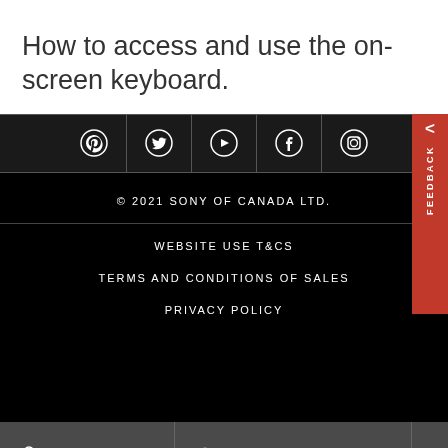How to access and use the on-screen keyboard.
[Figure (screenshot): Social media icons bar showing Pinterest, Twitter, YouTube, Facebook, and Instagram icons on dark background]
© 2021 SONY OF CANADA LTD.
WEBSITE USE T&CS
TERMS AND CONDITIONS OF SALES
PRIVACY POLICY
Contact Support  Parts & Repair